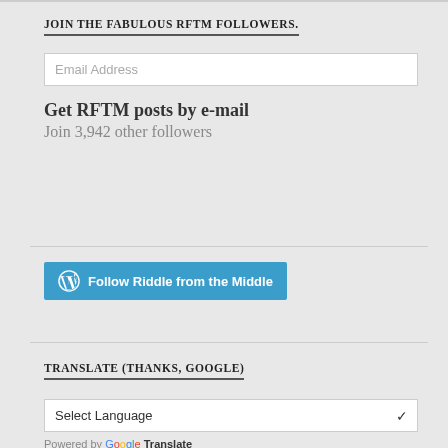JOIN THE FABULOUS RFTM FOLLOWERS.
Email Address
Get RFTM posts by e-mail
Join 3,942 other followers
[Figure (other): Follow Riddle from the Middle button with WordPress logo]
TRANSLATE (THANKS, GOOGLE)
Select Language
Powered by Google Translate